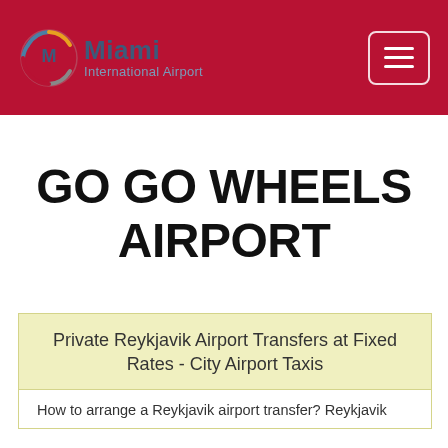Miami International Airport
GO GO WHEELS AIRPORT
Private Reykjavik Airport Transfers at Fixed Rates - City Airport Taxis
How to arrange a Reykjavik airport transfer? Reykjavik